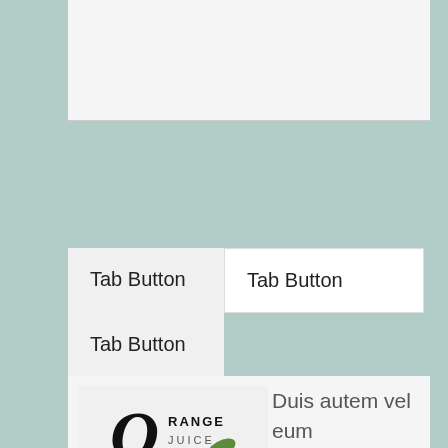[Figure (screenshot): Top white/light gray box area, appears to be a UI element container with a bottom border line]
Tab Button
Tab Button
Tab Button
[Figure (illustration): Orange Juice logo illustration with text 'ORANGE JUICE' and images of whole and sliced oranges]
Duis autem vel eum iriure dolor in hendrerit in vulputate velit esse molestie consequat, vel illum